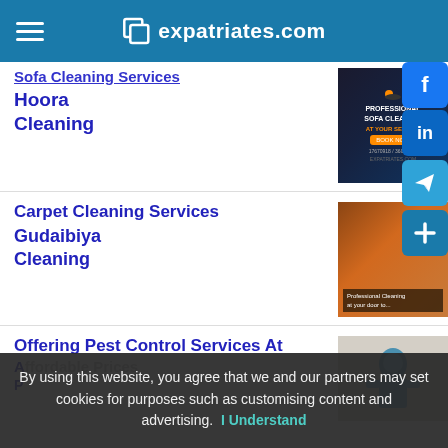expatriates.com
Sofa Cleaning Services
Hoora
Cleaning
[Figure (photo): Ad for Professional Sofa Cleaning service showing dark background with orange text]
Carpet Cleaning Services
Gudaibiya
Cleaning
[Figure (photo): Photo of carpet cleaning showing hands cleaning a carpet with text overlay]
Offering Pest Control Services At Affordable Prices
[Figure (photo): Photo of pest control worker in protective gear]
By using this website, you agree that we and our partners may set cookies for purposes such as customising content and advertising.  I Understand